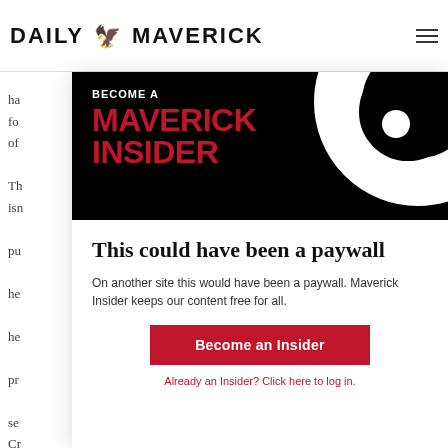DAILY MAVERICK
[Figure (logo): Daily Maverick logo with eagle/bird icon between DAILY and MAVERICK text]
ha fo of Th isn pu he he pr se Cr co of
[Figure (infographic): Become a Maverick Insider banner with red bold text on black background with large swirl decoration]
This could have been a paywall
On another site this would have been a paywall. Maverick Insider keeps our content free for all.
Become an Insider
Already an Insider? Click here to log in.